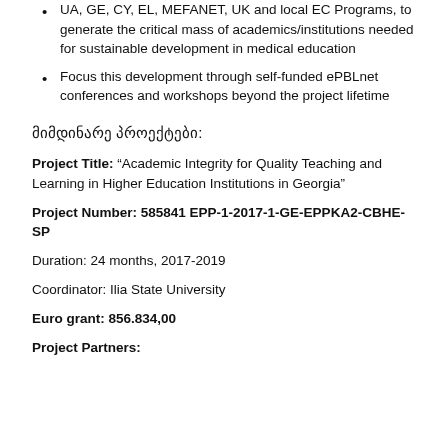UA, GE, CY, EL, MEFANET, UK and local EC Programs, to generate the critical mass of academics/institutions needed for sustainable development in medical education
Focus this development through self-funded ePBLnet conferences and workshops beyond the project lifetime
მიმდინარე პროექტები:
Project Title: “Academic Integrity for Quality Teaching and Learning in Higher Education Institutions in Georgia”
Project Number: 585841 EPP-1-2017-1-GE-EPPKA2-CBHE-SP
Duration: 24 months, 2017-2019
Coordinator: Ilia State University
Euro grant: 856.834,00
Project Partners: University of Toulouse (Muriel Lariviere)...